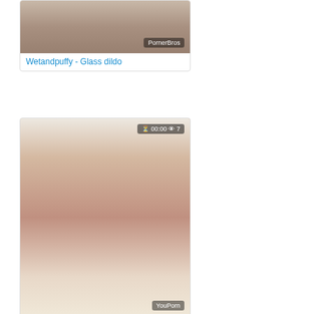[Figure (photo): Video thumbnail card 1: Wetandpuffy - Glass dildo, PornerBros watermark]
Wetandpuffy - Glass dildo
[Figure (photo): Video thumbnail card 2: 18 year old puffy nipple teen, 00:00 duration, 7 views, YouPorn watermark]
18 year old puffy nipple teen
Par  Erotiska  Indiska  Instruktioner  Milf
[Figure (photo): Video thumbnail card 3: 01:08 duration, 2 views, PornerBros watermark]